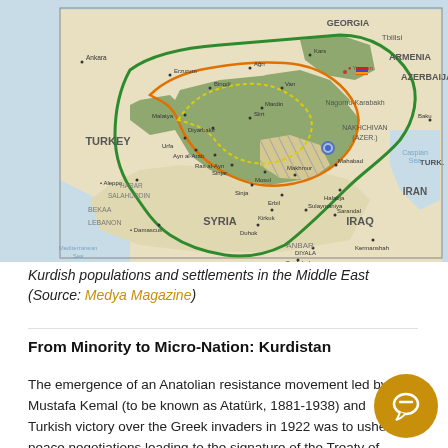[Figure (map): Map showing Kurdish populations and settlements in the Middle East, covering Turkey, Syria, Iraq, Iran, Armenia, and Azerbaijan. Green and orange boundary lines delineate Kurdish regions. Countries labeled: Turkey, Syria, Iraq, Iran, Georgia, Armenia, Azerbaijan. Cities labeled include Ankara, Erzurum, Bingol, Diyarbakir, Urfa, Ayn al-Arab, Van, Mosul, Kirkuk, Sulaymaniya, Kermanshah, Baghdad, Damascus, Baku, Tabriz, Tehran, and others.]
Kurdish populations and settlements in the Middle East (Source: Medya Magazine)
From Minority to Micro-Nation: Kurdistan
The emergence of an Anatolian resistance movement led by Mustafa Kemal (to be known as Atatürk, 1881-1938) and Turkish victory over the Greek invaders in 1922 was to usher in peace negotiations leading to the signature of the Treaty of